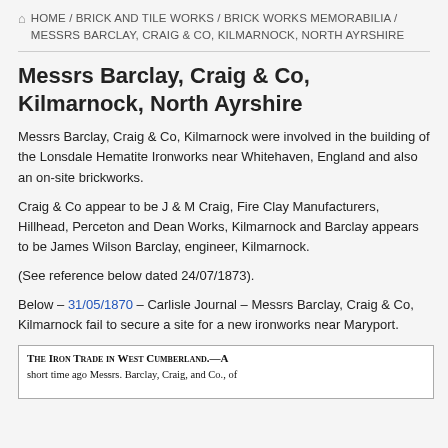HOME / BRICK AND TILE WORKS / BRICK WORKS MEMORABILIA / MESSRS BARCLAY, CRAIG & CO, KILMARNOCK, NORTH AYRSHIRE
Messrs Barclay, Craig & Co, Kilmarnock, North Ayrshire
Messrs Barclay, Craig & Co, Kilmarnock were involved in the building of the Lonsdale Hematite Ironworks near Whitehaven, England and also an on-site brickworks.
Craig & Co appear to be J & M Craig, Fire Clay Manufacturers, Hillhead, Perceton and Dean Works, Kilmarnock and Barclay appears to be James Wilson Barclay, engineer, Kilmarnock.
(See reference below dated 24/07/1873).
Below – 31/05/1870 – Carlisle Journal – Messrs Barclay, Craig & Co, Kilmarnock fail to secure a site for a new ironworks near Maryport.
[Figure (photo): Newspaper clipping image with headline 'The Iron Trade in West Cumberland' mentioning Messrs Barclay, Craig and Co.]